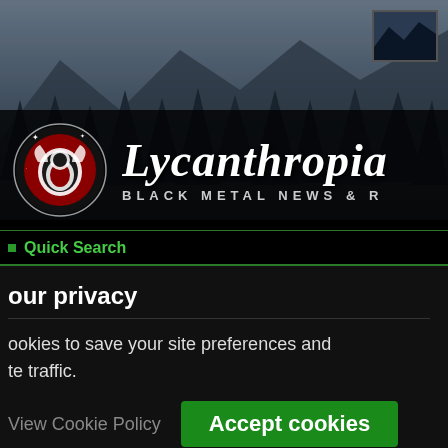[Figure (photo): Dark forest/mountain background photo with misty pine trees]
[Figure (thumbnail): Small thumbnail image in top-right corner showing a dark forested scene]
Lycanthropia BLACK METAL NEWS & R
Quick Search
our privacy
ookies to save your site preferences and te traffic.
View Cookie Policy
Accept cookies